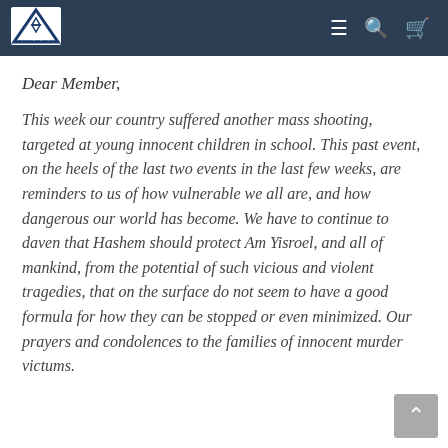Friends of Israel — navigation header with logo and icons
Dear Member,
This week our country suffered another mass shooting, targeted at young innocent children in school.  This past event, on the heels of the last two events in the last few weeks, are reminders to us of how vulnerable we all are, and how dangerous our world has become.  We have to continue to daven that Hashem should protect Am Yisroel, and all of mankind,  from the potential of such vicious and violent tragedies, that on the surface do not seem to have a good formula for how they can be stopped or even minimized.  Our prayers and condolences to the families of innocent murder victums.